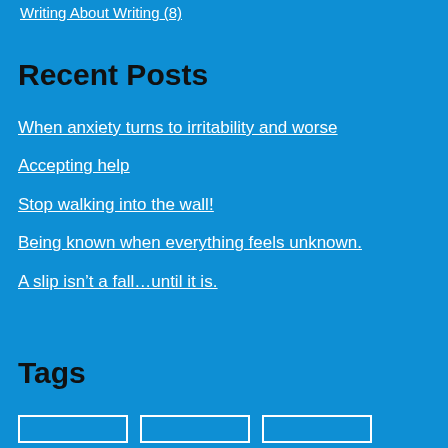Writing About Writing (8)
Recent Posts
When anxiety turns to irritability and worse
Accepting help
Stop walking into the wall!
Being known when everything feels unknown.
A slip isn’t a fall…until it is.
Tags